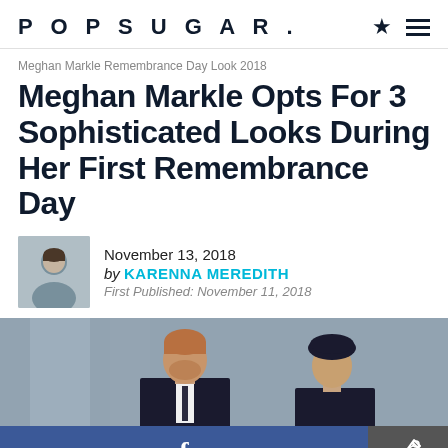POPSUGAR.
Meghan Markle Remembrance Day Look 2018
Meghan Markle Opts For 3 Sophisticated Looks During Her First Remembrance Day
November 13, 2018 by KARENNA MEREDITH First Published: November 11, 2018
[Figure (photo): Photo of Prince Harry and Meghan Markle in formal attire at a Remembrance Day event, in front of a stone building. Meghan is wearing a black beret.]